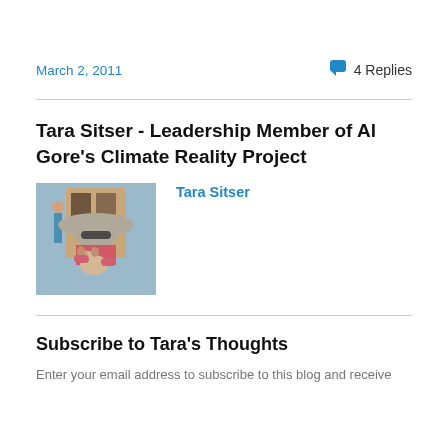March 2, 2011
4 Replies
Tara Sitser - Leadership Member of Al Gore's Climate Reality Project
[Figure (photo): Photo of Tara Sitser wearing a wide-brim hat and sunglasses, holding a small chihuahua dog outdoors]
Tara Sitser
Subscribe to Tara's Thoughts
Enter your email address to subscribe to this blog and receive